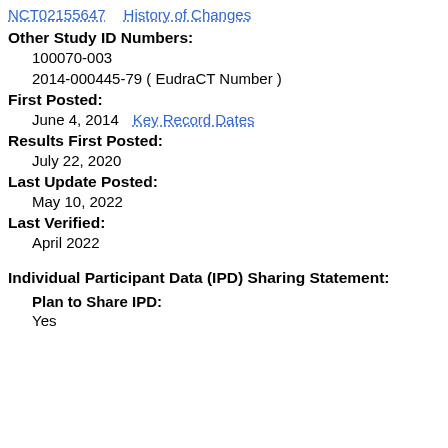NCT02155647   History of Changes
Other Study ID Numbers:
100070-003
2014-000445-79 ( EudraCT Number )
First Posted:
June 4, 2014   Key Record Dates
Results First Posted:
July 22, 2020
Last Update Posted:
May 10, 2022
Last Verified:
April 2022
Individual Participant Data (IPD) Sharing Statement:
Plan to Share IPD:
Yes